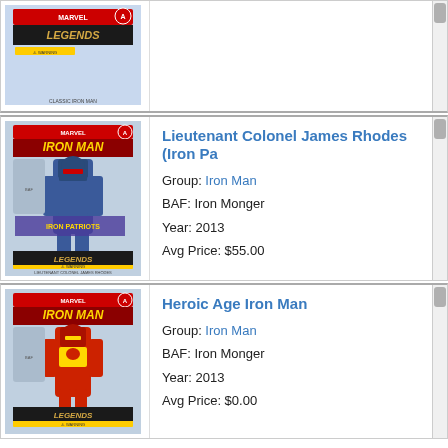[Figure (photo): Marvel Legends Iron Man action figure toy packaging (Classic Iron Man) - top partial row]
[Figure (photo): Marvel Legends Iron Man action figure toy packaging - Lieutenant Colonel James Rhodes (Iron Patriot)]
Lieutenant Colonel James Rhodes (Iron Pa...) Group: Iron Man BAF: Iron Monger Year: 2013 Avg Price: $55.00
[Figure (photo): Marvel Legends Iron Man action figure toy packaging - Heroic Age Iron Man]
Heroic Age Iron Man Group: Iron Man BAF: Iron Monger Year: 2013 Avg Price: $0.00